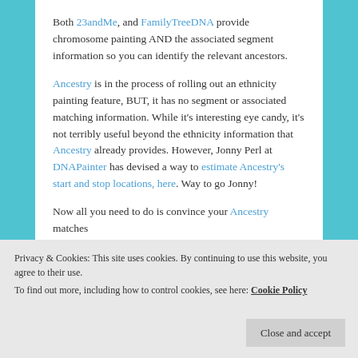Both 23andMe, and FamilyTreeDNA provide chromosome painting AND the associated segment information so you can identify the relevant ancestors.
Ancestry is in the process of rolling out an ethnicity painting feature, BUT, it has no segment or associated matching information. While it's interesting eye candy, it's not terribly useful beyond the ethnicity information that Ancestry already provides. However, Jonny Perl at DNAPainter has devised a way to estimate Ancestry's start and stop locations, here. Way to go Jonny!
Now all you need to do is convince your Ancestry matches
Privacy & Cookies: This site uses cookies. By continuing to use this website, you agree to their use.
To find out more, including how to control cookies, see here: Cookie Policy